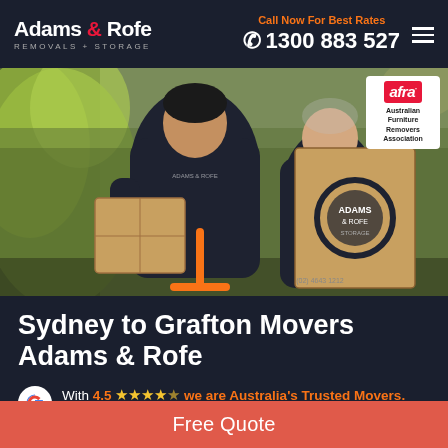[Figure (logo): Adams & Rofe Removals + Storage logo — white text on dark background]
Call Now For Best Rates
☎ 1300 883 527
[Figure (photo): Two removalists in dark uniforms carrying boxes and using a hand trolley outdoors]
[Figure (logo): AFRA - Australian Furniture Removers Association badge]
Sydney to Grafton Movers Adams & Rofe
With 4.5 ★★★★½ we are Australia's Trusted Movers. You won't find better value for money!
Free Quote